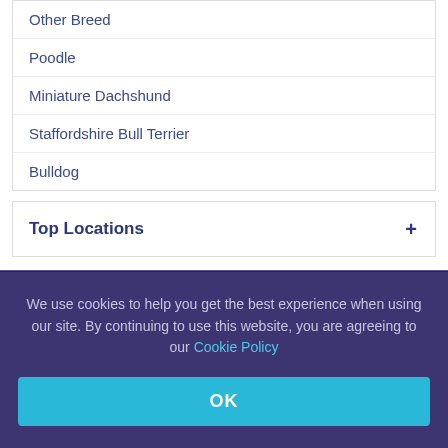Other Breed
Poodle
Miniature Dachshund
Staffordshire Bull Terrier
Bulldog
Top Locations
We use cookies to help you get the best experience when using our site. By continuing to use this website, you are agreeing to our Cookie Policy
OK